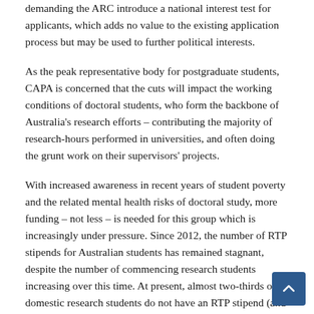demanding the ARC introduce a national interest test for applicants, which adds no value to the existing application process but may be used to further political interests.
As the peak representative body for postgraduate students, CAPA is concerned that the cuts will impact the working conditions of doctoral students, who form the backbone of Australia's research efforts – contributing the majority of research-hours performed in universities, and often doing the grunt work on their supervisors' projects.
With increased awareness in recent years of student poverty and the related mental health risks of doctoral study, more funding – not less – is needed for this group which is increasingly under pressure. Since 2012, the number of RTP stipends for Australian students has remained stagnant, despite the number of commencing research students increasing over this time. At present, almost two-thirds of domestic research students do not have an RTP stipend (and research students are not eligible for any